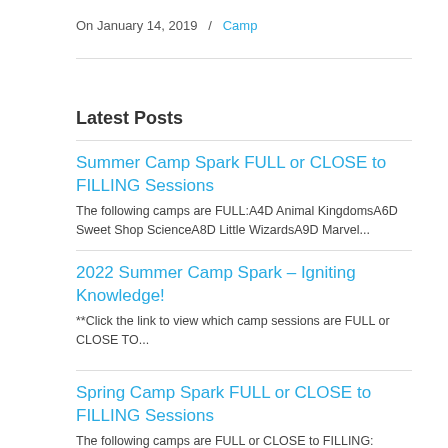On January 14, 2019  /  Camp
Latest Posts
Summer Camp Spark FULL or CLOSE to FILLING Sessions
The following camps are FULL:A4D Animal KingdomsA6D Sweet Shop ScienceA8D Little WizardsA9D Marvel...
2022 Summer Camp Spark – Igniting Knowledge!
**Click the link to view which camp sessions are FULL or CLOSE TO...
Spring Camp Spark FULL or CLOSE to FILLING Sessions
The following camps are FULL or CLOSE to FILLING: FULL Sessions:K-2 3 15 22 –